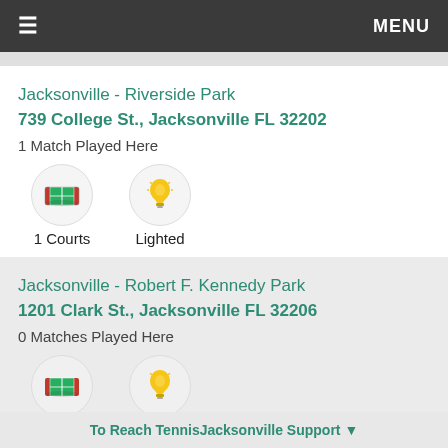≡   MENU
Jacksonville - Riverside Park
739 College St., Jacksonville FL 32202
1 Match Played Here
1 Courts   Lighted
Jacksonville - Robert F. Kennedy Park
1201 Clark St., Jacksonville FL 32206
0 Matches Played Here
To Reach TennisJacksonville Support ▼